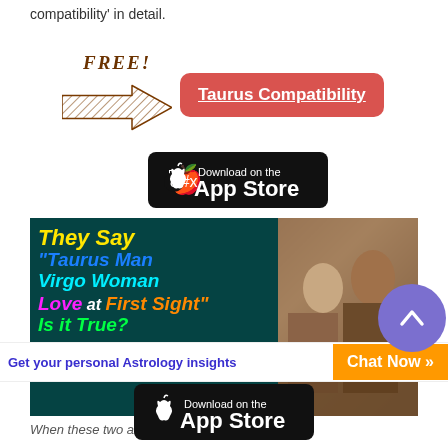compatibility' in detail.
[Figure (infographic): FREE label with brown sketched arrow pointing right, next to a red rounded button labeled 'Taurus Compatibility']
[Figure (screenshot): Download on the App Store badge (black rounded rectangle with Apple logo)]
[Figure (infographic): Ad banner: teal/dark background with colorful text 'They Say Taurus Man Virgo Woman Love at First Sight Is it True?' in yellow, blue, cyan, magenta, green fonts, plus a photo of a couple at a restaurant. URL: tauruspersonalitytraits.com]
When these two are paired up, we have a love at
Get your personal Astrology insights
[Figure (screenshot): Orange Chat Now button]
[Figure (screenshot): Download on the App Store badge (black rounded rectangle with Apple logo)]